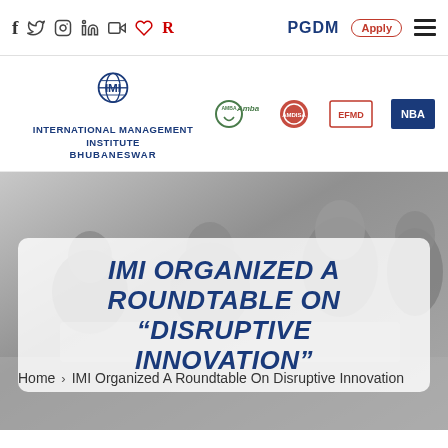Social icons: f, Twitter, Instagram, LinkedIn, YouTube, Blogger, Tumblr | PGDM | Apply | Menu
[Figure (logo): IMI International Management Institute Bhubaneswar logo with globe emblem, plus accreditation logos: AMBA, AMDISA/SAQS, EFMD, NBA]
[Figure (photo): Group of people seated in a roundtable discussion, viewed from behind and side]
IMI ORGANIZED A ROUNDTABLE ON “DISRUPTIVE INNOVATION”
Home > IMI Organized A Roundtable On Disruptive Innovation